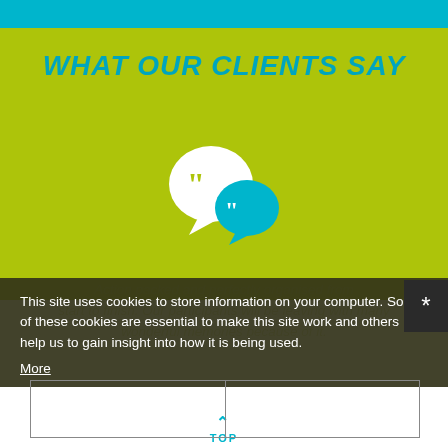WHAT OUR CLIENTS SAY
[Figure (illustration): Two overlapping speech/quote bubble icons — a large white bubble and a smaller teal bubble, each containing left-facing double quotation marks]
Action packed and perfectly organised from start to finish. Our participants will be leaving with many wonderful memories because of it.
This site uses cookies to store information on your computer. Some of these cookies are essential to make this site work and others help us to gain insight into how it is being used.
More
I consent
to cookies
I don't consent
to cookies
PARTY LEADER
TOP